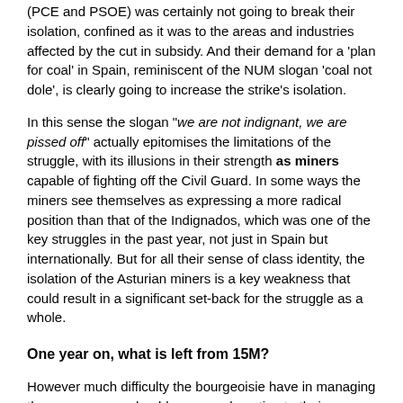(PCE and PSOE) was certainly not going to break their isolation, confined as it was to the areas and industries affected by the cut in subsidy. And their demand for a 'plan for coal' in Spain, reminiscent of the NUM slogan 'coal not dole', is clearly going to increase the strike's isolation.
In this sense the slogan "we are not indignant, we are pissed off" actually epitomises the limitations of the struggle, with its illusions in their strength as miners capable of fighting off the Civil Guard. In some ways the miners see themselves as expressing a more radical position than that of the Indignados, which was one of the key struggles in the past year, not just in Spain but internationally. But for all their sense of class identity, the isolation of the Asturian miners is a key weakness that could result in a significant set-back for the struggle as a whole.
One year on, what is left from 15M?
However much difficulty the bourgeoisie have in managing the economy we should never underestimate their experience in confronting the working class – as shown by their isolation of the miners, and the union-organised general strike of 29 March (see WR 353 [15]) which was